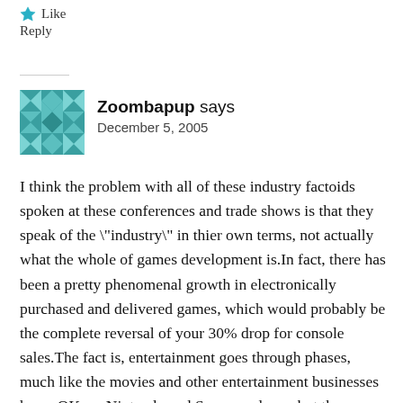Like
Reply
[Figure (illustration): Teal/green decorative quilt-pattern avatar icon for user Zoombapup]
Zoombapup says
December 5, 2005
I think the problem with all of these industry factoids spoken at these conferences and trade shows is that they speak of the \"industry\" in thier own terms, not actually what the whole of games development is.In fact, there has been a pretty phenomenal growth in electronically purchased and delivered games, which would probably be the complete reversal of your 30% drop for console sales.The fact is, entertainment goes through phases, much like the movies and other entertainment businesses have. OK, so Nintendo and Sony are down, but then Popcap and POGO are up. Swings and roundabouts.I dont particularly care about the huge companies not making billions in profit. I care